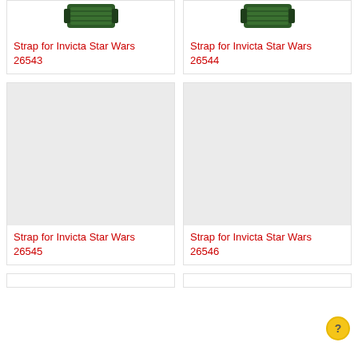[Figure (photo): Watch strap for Invicta Star Wars 26543 — dark green rubber strap shown from top]
Strap for Invicta Star Wars 26543
[Figure (photo): Watch strap for Invicta Star Wars 26544 — dark green rubber strap shown from top]
Strap for Invicta Star Wars 26544
[Figure (photo): Blank placeholder image for Strap for Invicta Star Wars 26545]
Strap for Invicta Star Wars 26545
[Figure (photo): Blank placeholder image for Strap for Invicta Star Wars 26546]
Strap for Invicta Star Wars 26546